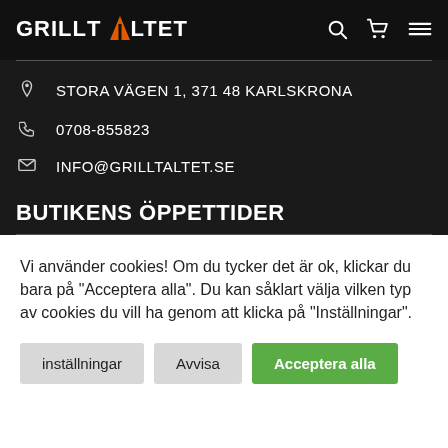GRILLTALTET
STORA VÄGEN 1, 371 48 KARLSKRONA
0708-855823
INFO@GRILLTALTET.SE
BUTIKENS ÖPPETTIDER
Vi använder cookies! Om du tycker det är ok, klickar du bara på "Acceptera alla". Du kan såklart välja vilken typ av cookies du vill ha genom att klicka på "Inställningar".